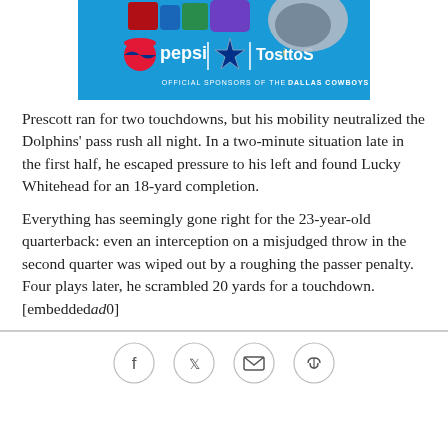[Figure (photo): Pepsi and Tostitos advertisement with Dallas Cowboys branding, showing snack products and a Cowboys football helmet on a blue background. Text reads: 'OFFICIAL SPONSORS OF THE DALLAS COWBOYS']
Prescott ran for two touchdowns, but his mobility neutralized the Dolphins' pass rush all night. In a two-minute situation late in the first half, he escaped pressure to his left and found Lucky Whitehead for an 18-yard completion.
Everything has seemingly gone right for the 23-year-old quarterback: even an interception on a misjudged throw in the second quarter was wiped out by a roughing the passer penalty. Four plays later, he scrambled 20 yards for a touchdown.[embeddedad0]
[Figure (other): Social media sharing icons: Facebook, Twitter, Email, Link]